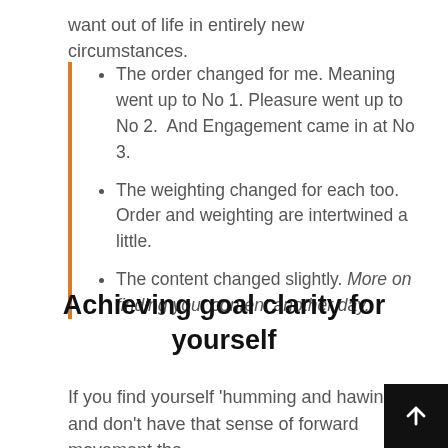want out of life in entirely new circumstances.
The order changed for me. Meaning went up to No 1. Pleasure went up to No 2.  And Engagement came in at No 3.
The weighting changed for each too. Order and weighting are intertwined a little.
The content changed slightly. More on finding your content another day.
Achieving goal clarity for yourself
If you find yourself 'humming and hawing' and don't have that sense of forward movement tha